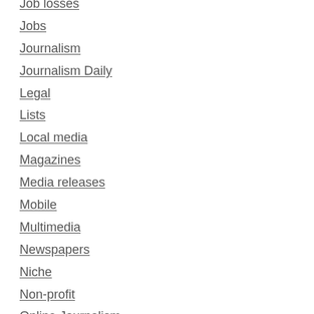Job losses
Jobs
Journalism
Journalism Daily
Legal
Lists
Local media
Magazines
Media releases
Mobile
Multimedia
Newspapers
Niche
Non-profit
Online Journalism
Paid-for content
Photography
Politics
PR